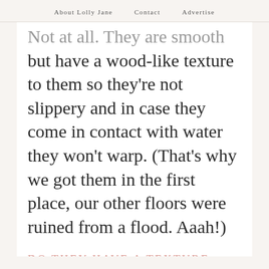About Lolly Jane   Contact   Advertise
Not at all. They are smooth but have a wood-like texture to them so they're not slippery and in case they come in contact with water they won't warp. (That's why we got them in the first place, our other floors were ruined from a flood. Aaah!)
DO THEY HAVE A TEXTURE THAT FEELS SIMILAR TO